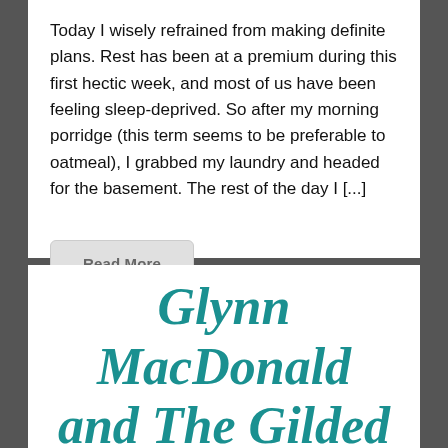Today I wisely refrained from making definite plans. Rest has been at a premium during this first hectic week, and most of us have been feeling sleep-deprived. So after my morning porridge (this term seems to be preferable to oatmeal), I grabbed my laundry and headed for the basement. The rest of the day I [...]
Read More
Glynn MacDonald and The Gilded